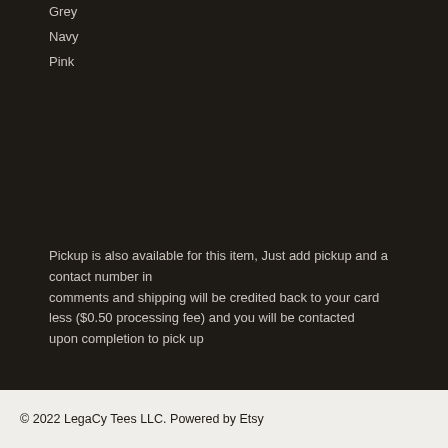Grey
Navy
Pink
Pickup is also available for this item, Just add pickup and a contact number in comments and shipping will be credited back to your card less ($0.50 processing fee) and you will be contacted upon completion to pick up
© 2022 LegaCy Tees LLC. Powered by Etsy